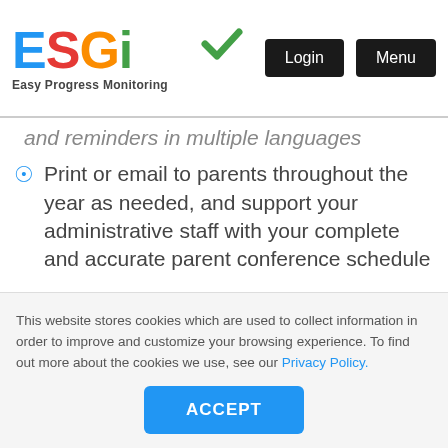[Figure (logo): ESGI Easy Progress Monitoring logo with colorful letters and green checkmark, plus Login and Menu buttons]
and reminders in multiple languages
Print or email to parents throughout the year as needed, and support your administrative staff with your complete and accurate parent conference schedule
This website stores cookies which are used to collect information in order to improve and customize your browsing experience. To find out more about the cookies we use, see our Privacy Policy.